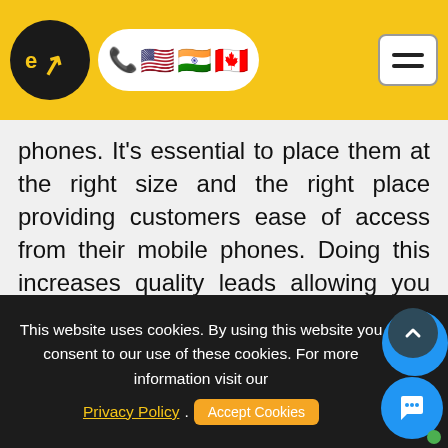eV logo with navigation: phone, US flag, India flag, Canada flag, hamburger menu
phones. It's essential to place them at the right size and the right place providing customers ease of access from their mobile phones. Doing this increases quality leads allowing you more chances to talk business with people that want your services.
This website uses cookies. By using this website you consent to our use of these cookies. For more information visit our Privacy Policy. Accept Cookies